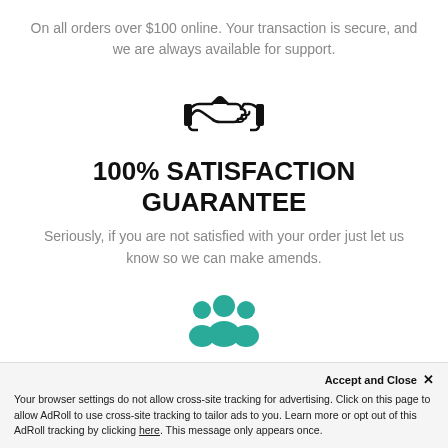On all orders over $100 online. Your transaction is secure, and we are always available for support.
[Figure (illustration): Handshake icon in black outline style]
100% SATISFACTION GUARANTEE
Seriously, if you are not satisfied with your order just let us know so we can make amends.
[Figure (illustration): Group of people / family icon in teal color]
FAMILY OWNED & OPERATED
Your browser settings do not allow cross-site tracking for advertising. Click on this page to allow AdRoll to use cross-site tracking to tailor ads to you. Learn more or opt out of this AdRoll tracking by clicking here. This message only appears once.